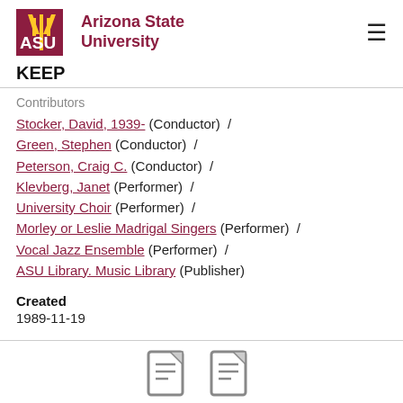[Figure (logo): Arizona State University logo with maroon ASU letters and gold sunburst, alongside text 'Arizona State University']
KEEP
Contributors
Stocker, David, 1939- (Conductor) / Green, Stephen (Conductor) / Peterson, Craig C. (Conductor) / Klevberg, Janet (Performer) / University Choir (Performer) / Morley or Leslie Madrigal Singers (Performer) / Vocal Jazz Ensemble (Performer) / ASU Library. Music Library (Publisher)
Created
1989-11-19
[Figure (illustration): Two document/file icons at the bottom of the page]